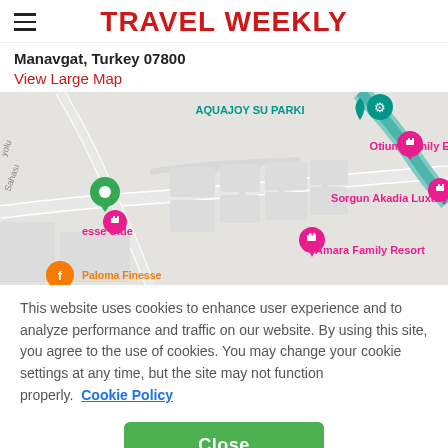TRAVEL WEEKLY
Manavgat, Turkey 07800
View Large Map
[Figure (map): Google Maps view showing hotel locations near Manavgat, Turkey including AQUAJOY SU PARKI, Otium Family Eco Club, Sorgun Akadia Luxury, Amara Family Resort, and Paloma Finesse]
This website uses cookies to enhance user experience and to analyze performance and traffic on our website. By using this site, you agree to the use of cookies. You may change your cookie settings at any time, but the site may not function properly.  Cookie Policy
Close